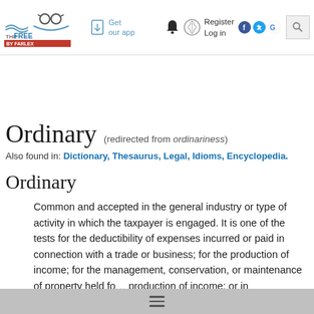The Free Dictionary by Farlex — Get our app — Register Log in
Ordinary (redirected from ordinariness)
Also found in: Dictionary, Thesaurus, Legal, Idioms, Encyclopedia.
Ordinary
Common and accepted in the general industry or type of activity in which the taxpayer is engaged. It is one of the tests for the deductibility of expenses incurred or paid in connection with a trade or business; for the production of income; for the management, conservation, or maintenance of property held fo… production of income: or in